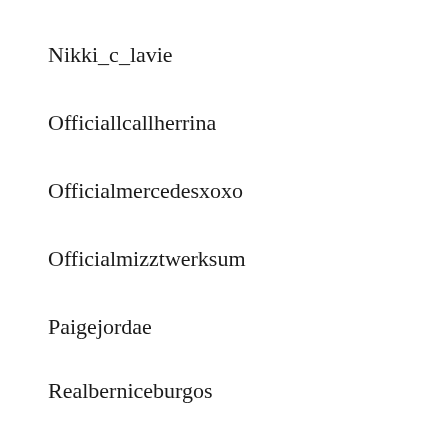Nikki_c_lavie
Officiallcallherrina
Officialmercedesxoxo
Officialmizztwerksum
Paigejordae
Realberniceburgos
Shanikihernandez